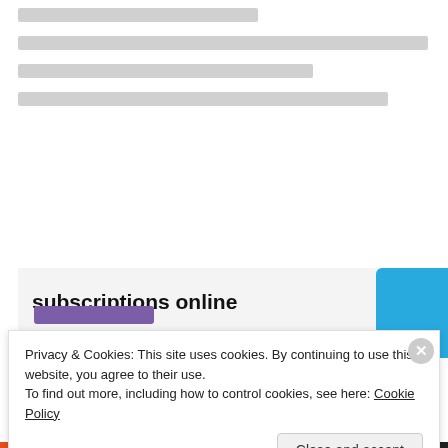[redacted text lines - comment block]
★ Like
LOG IN TO REPLY
[Figure (screenshot): Partial advertisement banner showing 'subscriptions online' text with a blue shape and purple button]
Privacy & Cookies: This site uses cookies. By continuing to use this website, you agree to their use.
To find out more, including how to control cookies, see here: Cookie Policy
Close and accept